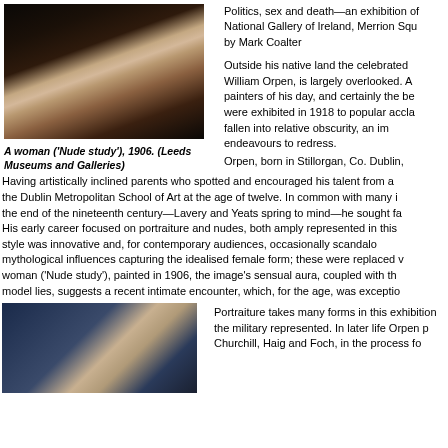[Figure (photo): Painting of a reclining nude woman on white fabric, A woman ('Nude study'), 1906]
Politics, sex and death—an exhibition of National Gallery of Ireland, Merrion Squ by Mark Coalter
A woman ('Nude study'), 1906. (Leeds Museums and Galleries)
Outside his native land the celebrated William Orpen, is largely overlooked. A painters of his day, and certainly the be were exhibited in 1918 to popular accla fallen into relative obscurity, an im endeavours to redress.
Orpen, born in Stillorgan, Co. Dublin,
Having artistically inclined parents who spotted and encouraged his talent from a the Dublin Metropolitan School of Art at the age of twelve. In common with many i the end of the nineteenth century—Lavery and Yeats spring to mind—he sought fa His early career focused on portraiture and nudes, both amply represented in this style was innovative and, for contemporary audiences, occasionally scandalo mythological influences capturing the idealised female form; these were replaced v woman ('Nude study'), painted in 1906, the image's sensual aura, coupled with th model lies, suggests a recent intimate encounter, which, for the age, was exceptio
[Figure (photo): Portrait painting showing a standing figure, appears to be a formal portrait]
Portraiture takes many forms in this exhibition the military represented. In later life Orpen p Churchill, Haig and Foch, in the process fo